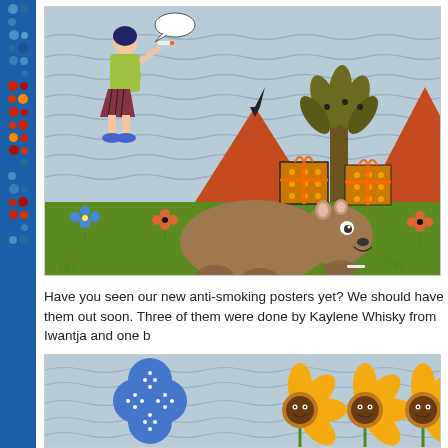[Figure (illustration): Anti-smoking artwork illustration showing a pregnant woman smoking, a wombat, flowers, gift boxes, a tree, and volcanic mountains on a colourful background. Style is folk/naive art.]
Have you seen our new anti-smoking posters yet? We should have them out soon. Three of them were done by Kaylene Whisky from Iwantja and one b
[Figure (illustration): Anti-smoking artwork illustration showing a blue polka-dot flower and three sunflowers with faces on a blue wavy-line background.]